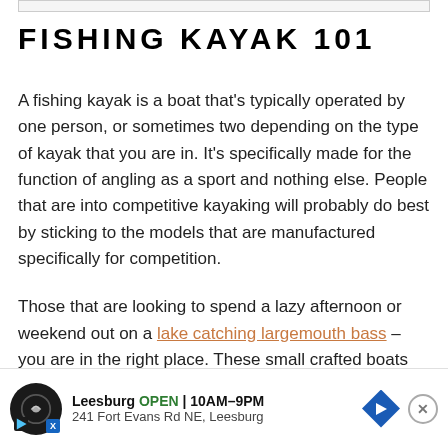FISHING KAYAK 101
A fishing kayak is a boat that's typically operated by one person, or sometimes two depending on the type of kayak that you are in. It's specifically made for the function of angling as a sport and nothing else. People that are into competitive kayaking will probably do best by sticking to the models that are manufactured specifically for competition.
Those that are looking to spend a lazy afternoon or weekend out on a lake catching largemouth bass – you are in the right place. These small crafted boats are perfect for getting yourself out onto the lake away from all the hustle of where larger boats are at, giving you an advantage in an area bl...